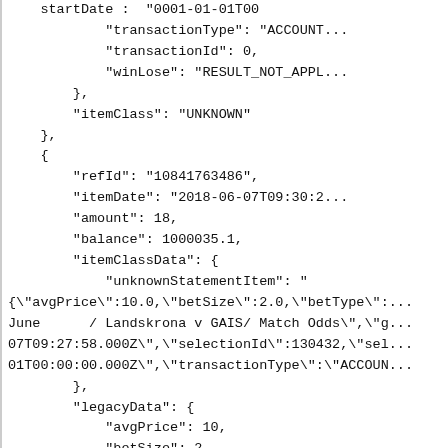startDate : 0001-01-01T00...
            "transactionType": "ACCOUNT...
            "transactionId": 0,
            "winLose": "RESULT_NOT_APPL...
        },
        "itemClass": "UNKNOWN"
    },
    {
        "refId": "10841763486",
        "itemDate": "2018-06-07T09:30:2...
        "amount": 18,
        "balance": 1000035.1,
        "itemClassData": {
            "unknownStatementItem": "
{\"avgPrice\":10.0,\"betSize\":2.0,\"betType\":
June      / Landskrona v GAIS/ Match Odds\",\"g
07T09:27:58.000Z\",\"selectionId\":130432,\"sel
01T00:00:00.000Z\",\"transactionType\":\"ACCOUN...
        },
        "legacyData": {
            "avgPrice": 10,
            "betSize": 2,
            "betType": "B",